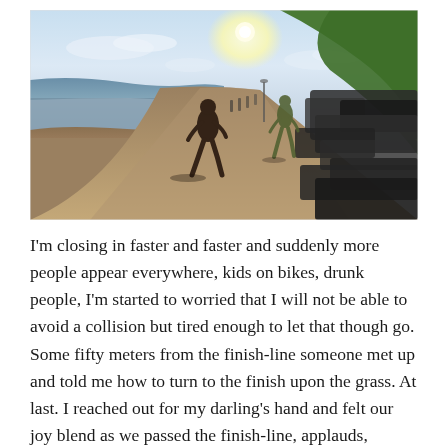[Figure (photo): Two runners on a coastal road path with a beach and sea on the left, parked cars on the right, and a green hillside. The sun is bright in the sky. The runners are seen from behind, running toward the finish.]
I'm closing in faster and faster and suddenly more people appear everywhere, kids on bikes, drunk people, I'm started to worried that I will not be able to avoid a collision but tired enough to let that though go. Some fifty meters from the finish-line someone met up and told me how to turn to the finish upon the grass. At last. I reached out for my darling's hand and felt our joy blend as we passed the finish-line, applauds, cheering and that